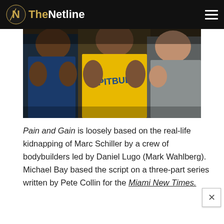TheNetline
[Figure (photo): Three muscular men in a gym setting, one wearing a yellow Pitbull tank top, viewed from torso level]
Pain and Gain is loosely based on the real-life kidnapping of Marc Schiller by a crew of bodybuilders led by Daniel Lugo (Mark Wahlberg). Michael Bay based the script on a three-part series written by Pete Collin for the Miami New Times.